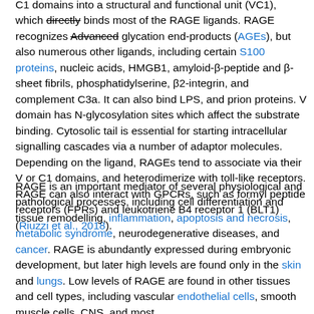C1 domains into a structural and functional unit (VC1), which directly binds most of the RAGE ligands. RAGE recognizes Advanced glycation end-products (AGEs), but also numerous other ligands, including certain S100 proteins, nucleic acids, HMGB1, amyloid-β-peptide and β-sheet fibrils, phosphatidylserine, β2-integrin, and complement C3a. It can also bind LPS, and prion proteins. V domain has N-glycosylation sites which affect the substrate binding. Cytosolic tail is essential for starting intracellular signalling cascades via a number of adaptor molecules. Depending on the ligand, RAGEs tend to associate via their V or C1 domains, and heterodimerize with toll-like receptors. RAGE can also interact with GPCRs, such as formyl peptide receptors (FPRs) and leukotriene B4 receptor 1 (BLT1) (Riuzzi et al., 2018).
RAGE is an important mediator of several physiological and pathological processes, including cell differentiation and tissue remodelling, inflammation, apoptosis and necrosis, metabolic syndrome, neurodegenerative diseases, and cancer. RAGE is abundantly expressed during embryonic development, but later high levels are found only in the skin and lungs. Low levels of RAGE are found in other tissues and cell types, including vascular endothelial cells, smooth muscle cells, CNS, and most